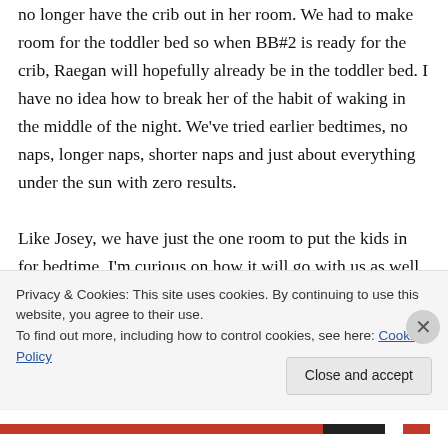no longer have the crib out in her room. We had to make room for the toddler bed so when BB#2 is ready for the crib, Raegan will hopefully already be in the toddler bed. I have no idea how to break her of the habit of waking in the middle of the night. We've tried earlier bedtimes, no naps, longer naps, shorter naps and just about everything under the sun with zero results.

Like Josey, we have just the one room to put the kids in for bedtime. I'm curious on how it will go with us as well. Of course if Raegan is still in our
Privacy & Cookies: This site uses cookies. By continuing to use this website, you agree to their use.
To find out more, including how to control cookies, see here: Cookie Policy